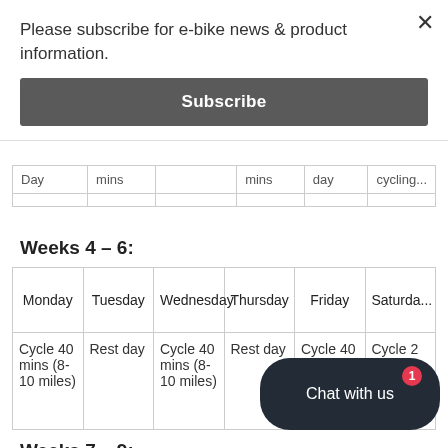Please subscribe for e-bike news & product information.
Subscribe
| Day | mins |  | mins | day | cycling... |
| --- | --- | --- | --- | --- | --- |
|  |  |  |  |  |  |
Weeks 4 – 6:
| Monday | Tuesday | Wednesday | Thursday | Friday | Saturda... |
| --- | --- | --- | --- | --- | --- |
| Cycle 40 mins (8-10 miles) | Rest day | Cycle 40 mins (8-10 miles) | Rest day | Cycle 40 mins (8-10 miles) | Cycle 2 hours (2... miles) b... |
Weeks 7 – 9: